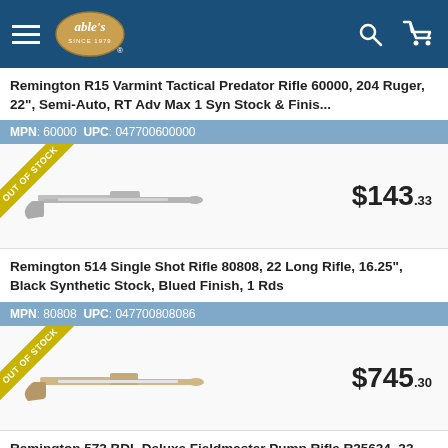able's
Remington R15 Varmint Tactical Predator Rifle 60000, 204 Ruger, 22", Semi-Auto, RT Adv Max 1 Syn Stock & Finis...
MPN: 60000  UPC: 047700600000
[Figure (photo): Remington rifle product image with Out of Stock badge, price $143.33]
Remington 514 Single Shot Rifle 80808, 22 Long Rifle, 16.25", Black Synthetic Stock, Blued Finish, 1 Rds
MPN: 80808  UPC: 047700808086
[Figure (photo): Remington rifle product image with Out of Stock badge, price $745.30]
Remington 572 BDL Deluxe Fieldmaster Pump Rifle R25624, 22 LR, 21", Gloss Walnut Stock, Blue Finish, 15 Rds